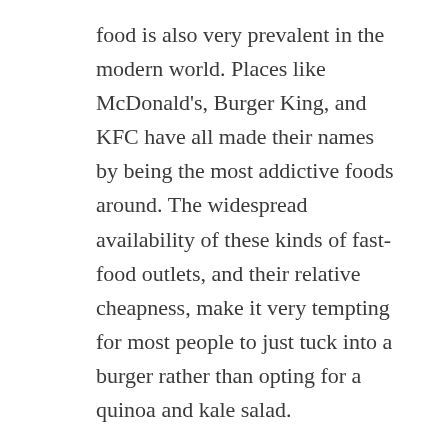food is also very prevalent in the modern world. Places like McDonald's, Burger King, and KFC have all made their names by being the most addictive foods around. The widespread availability of these kinds of fast-food outlets, and their relative cheapness, make it very tempting for most people to just tuck into a burger rather than opting for a quinoa and kale salad.
The modern individual has a lot of dangers and temptations to contend with and sometimes it can feel like it's a little too much to deal with on their own, this is why it is important to visit healthcare institutions, and in particular private healthcare labs. If you're looking for a fantastic